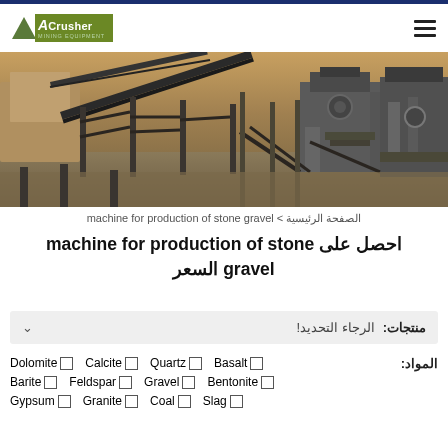[Figure (logo): ACrusher Mining Equipment logo with green triangle and text]
[Figure (photo): Industrial stone crushing machinery and conveyor belts at a mining site]
الصفحة الرئيسية > machine for production of stone gravel
احصل على machine for production of stone gravel السعر
منتجات: الرجاء التحديد!
المواد: Dolomite Calcite Quartz Basalt Barite Feldspar Gravel Bentonite Gypsum Granite Coal Slag